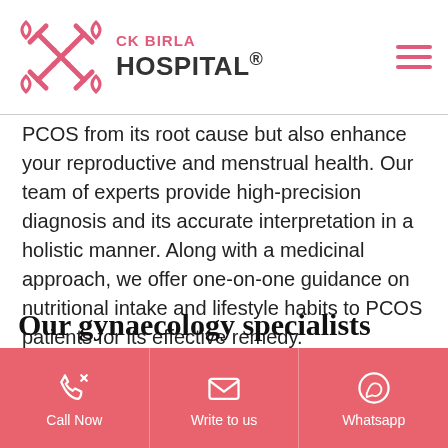CK BIRLA HOSPITAL®
PCOS from its root cause but also enhance your reproductive and menstrual health. Our team of experts provide high-precision diagnosis and its accurate interpretation in a holistic manner. Along with a medicinal approach, we offer one-on-one guidance on nutritional intake and lifestyle habits to PCOS patients for its effective remedy.
Our gynaecology specialists
[Figure (photo): Partial view of a doctor or specialist photo at bottom of page]
Call Now | Write to us | Whatsapp